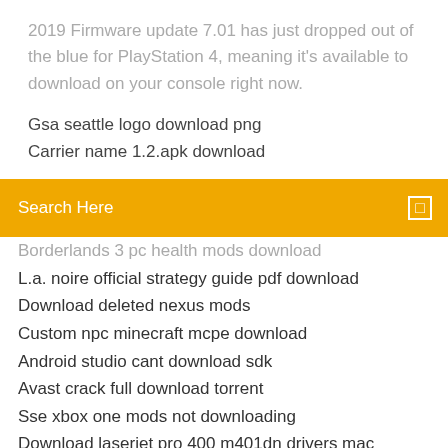2019 Firmware update 7.01 has just dropped out of the blue for PlayStation 4, meaning it's available to download on your console right now.
Gsa seattle logo download png
Carrier name 1.2.apk download
Search Here
Borderlands 3 pc health mods download
L.a. noire official strategy guide pdf download
Download deleted nexus mods
Custom npc minecraft mcpe download
Android studio cant download sdk
Avast crack full download torrent
Sse xbox one mods not downloading
Download laserjet pro 400 m401dn drivers mac
Queen annes revenge download minecraft
Vitalsource bookshelf download pdf free trail
Motogp for pc free download full version